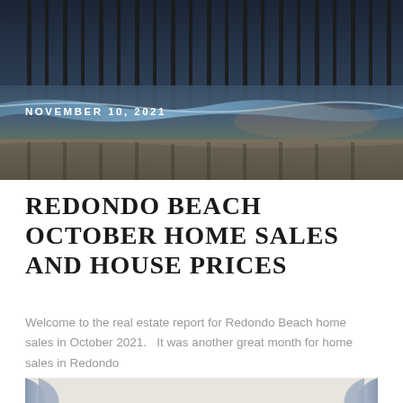[Figure (photo): Aerial/ground-level view of a beach pier at dusk/evening with waves washing under the wooden pier structure. Dark moody tones with reflections on wet sand.]
NOVEMBER 10, 2021
REDONDO BEACH OCTOBER HOME SALES AND HOUSE PRICES
Welcome to the real estate report for Redondo Beach home sales in October 2021.   It was another great month for home sales in Redondo
[Figure (photo): Interior room photo, partially visible, showing curtains/drapes and what appears to be a bedroom or living space.]